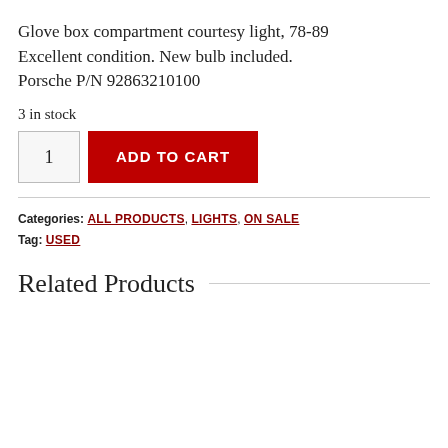Glove box compartment courtesy light, 78-89 Excellent condition. New bulb included. Porsche P/N 92863210100
3 in stock
ADD TO CART
Categories: ALL PRODUCTS, LIGHTS, ON SALE
Tag: USED
Related Products